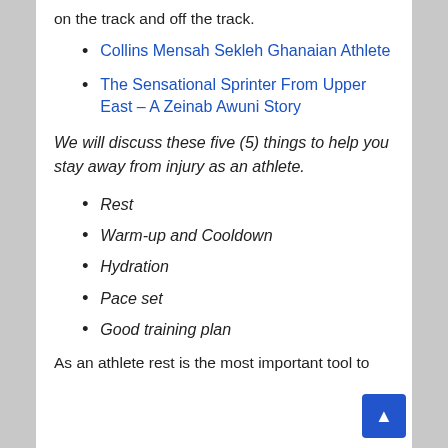on the track and off the track.
Collins Mensah Sekleh Ghanaian Athlete
The Sensational Sprinter From Upper East – A Zeinab Awuni Story
We will discuss these five (5) things to help you stay away from injury as an athlete.
Rest
Warm-up and Cooldown
Hydration
Pace set
Good training plan
As an athlete rest is the most important tool to